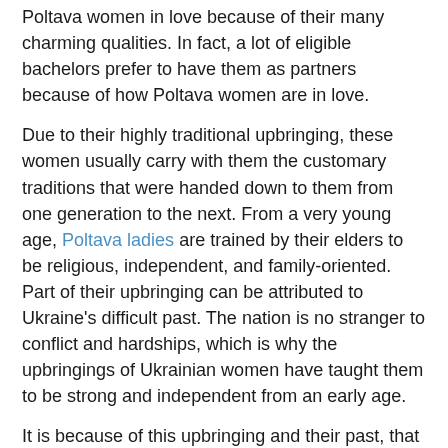Poltava women in love because of their many charming qualities. In fact, a lot of eligible bachelors prefer to have them as partners because of how Poltava women are in love.
Due to their highly traditional upbringing, these women usually carry with them the customary traditions that were handed down to them from one generation to the next. From a very young age, Poltava ladies are trained by their elders to be religious, independent, and family-oriented. Part of their upbringing can be attributed to Ukraine's difficult past. The nation is no stranger to conflict and hardships, which is why the upbringings of Ukrainian women have taught them to be strong and independent from an early age.
It is because of this upbringing and their past, that these women are sometimes regarded as "cold" people. However, part of their charm is their seemingly cold exterior. Once you begin to date and get to know her, she will slowly trust you and let her guard down. When your relationship progresses to this level, you will begin to see the many admirable characteristics that many Poltava women have.